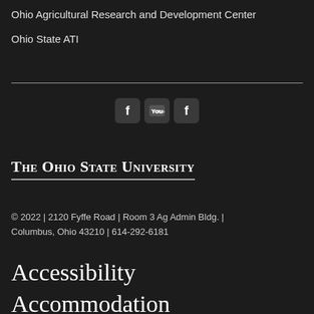Ohio Agricultural Research and Development Center
Ohio State ATI
[Figure (other): Three social media icon buttons: two Facebook icons and one YouTube icon, on dark rounded square backgrounds]
[Figure (logo): The Ohio State University wordmark in small-caps serif font with underline]
© 2022 | 2120 Fyffe Road | Room 3 Ag Admin Bldg. | Columbus, Ohio 43210 | 614-292-6181
Accessibility
Accommodation